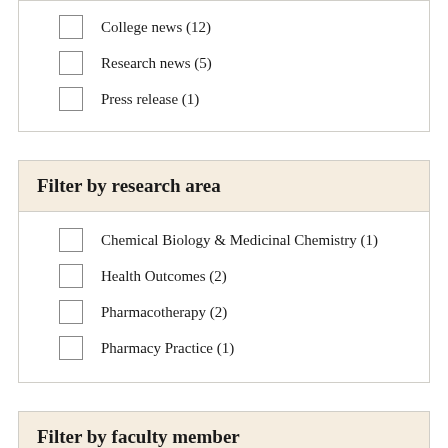College news (12)
Research news (5)
Press release (1)
Filter by research area
Chemical Biology & Medicinal Chemistry (1)
Health Outcomes (2)
Pharmacotherapy (2)
Pharmacy Practice (1)
Filter by faculty member